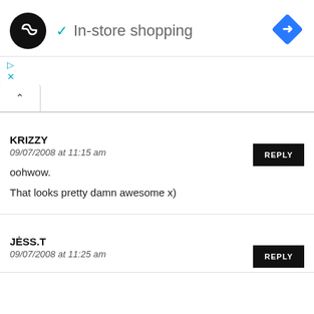[Figure (screenshot): Website header with black circular logo containing infinity-like symbol, checkmark and 'In-store shopping' text, and blue diamond navigation icon]
oohwow.

That looks pretty damn awesome x)
KRIZZY
09/07/2008 at 11:15 am
JĖSS.T
09/07/2008 at 11:25 am